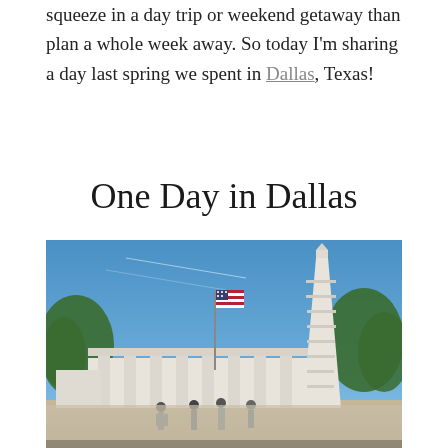squeeze in a day trip or weekend getaway than plan a whole week away. So today I'm sharing a day last spring we spent in Dallas, Texas!
One Day in Dallas
[Figure (photo): Outdoor photo of a white memorial monument with columns and a tall obelisk-style tower, American flag on a pole to the left, green trees in background, blue sky, people standing in foreground]